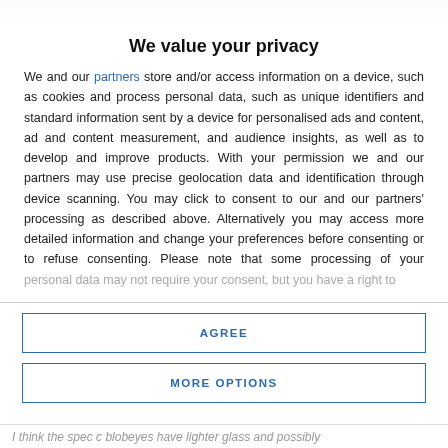[Figure (photo): Blurred photograph visible at top of page behind privacy overlay]
We value your privacy
We and our partners store and/or access information on a device, such as cookies and process personal data, such as unique identifiers and standard information sent by a device for personalised ads and content, ad and content measurement, and audience insights, as well as to develop and improve products. With your permission we and our partners may use precise geolocation data and identification through device scanning. You may click to consent to our and our partners' processing as described above. Alternatively you may access more detailed information and change your preferences before consenting or to refuse consenting. Please note that some processing of your personal data may not require your consent, but you have a right to
AGREE
MORE OPTIONS
I think the spec c blobeyes have lighter glass and possibly